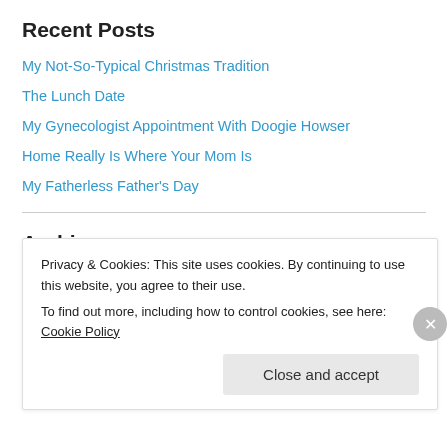Recent Posts
My Not-So-Typical Christmas Tradition
The Lunch Date
My Gynecologist Appointment With Doogie Howser
Home Really Is Where Your Mom Is
My Fatherless Father's Day
Archives
December 2016
October 2016
Privacy & Cookies: This site uses cookies. By continuing to use this website, you agree to their use. To find out more, including how to control cookies, see here: Cookie Policy
Close and accept